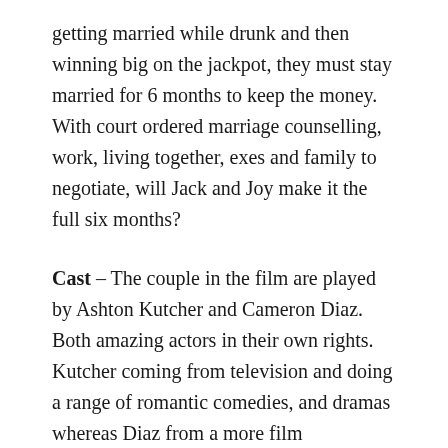getting married while drunk and then winning big on the jackpot, they must stay married for 6 months to keep the money. With court ordered marriage counselling, work, living together, exes and family to negotiate, will Jack and Joy make it the full six months?
Cast – The couple in the film are played by Ashton Kutcher and Cameron Diaz. Both amazing actors in their own rights. Kutcher coming from television and doing a range of romantic comedies, and dramas whereas Diaz from a more film background with experience in voice acting, comedy and rom-coms. The chemistry between the two in the film is one of the main draws for me. At the beginning, I